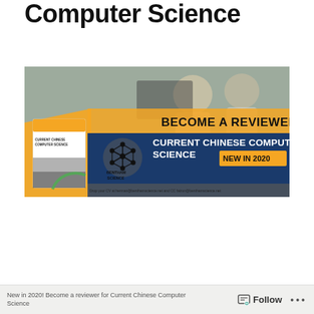Computer Science
[Figure (illustration): Bentham Science promotional banner for Current Chinese Computer Science journal. Shows two people smiling at computers in background. Left side has journal cover with title 'CURRENT CHINESE COMPUTER SCIENCE'. Center has Bentham Science hexagonal molecule logo. Right side has yellow/blue banner with text 'BECOME A REVIEWER', 'CURRENT CHINESE COMPUTER SCIENCE', 'NEW IN 2020', and contact email text: 'Drop your CV at herman@benthamscience.net and CC faizun@benthamscience.net']
Follow ...